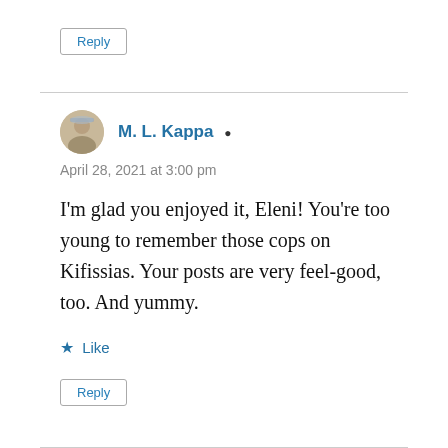Reply
M. L. Kappa
April 28, 2021 at 3:00 pm
I'm glad you enjoyed it, Eleni! You're too young to remember those cops on Kifissias. Your posts are very feel-good, too. And yummy.
Like
Reply